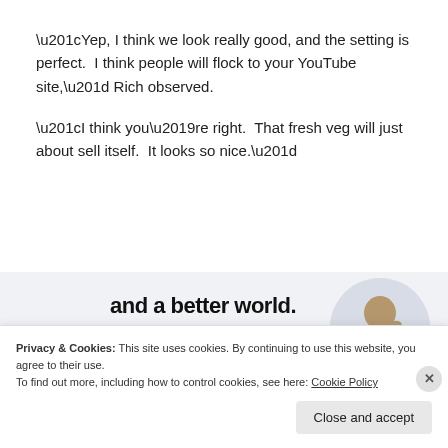“Yep, I think we look really good, and the setting is perfect.  I think people will flock to your YouTube site,” Rich observed.
“I think you’re right.  That fresh veg will just about sell itself.  It looks so nice.”
[Figure (infographic): Website advertisement banner with bold text 'and a better world.' and a blue 'Apply' button, alongside a circular photo of a man thinking.]
Privacy & Cookies: This site uses cookies. By continuing to use this website, you agree to their use.
To find out more, including how to control cookies, see here: Cookie Policy
Close and accept